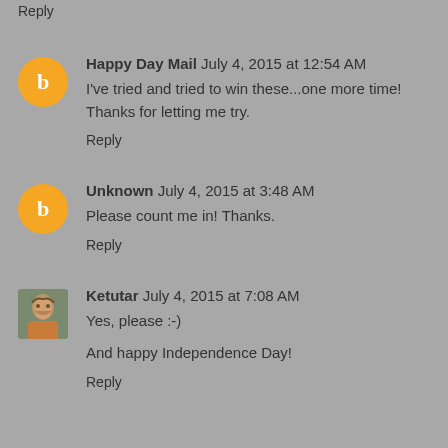Reply
Happy Day Mail  July 4, 2015 at 12:54 AM
I've tried and tried to win these...one more time! Thanks for letting me try.
Reply
Unknown  July 4, 2015 at 3:48 AM
Please count me in! Thanks.
Reply
Ketutar  July 4, 2015 at 7:08 AM
Yes, please :-)
And happy Independence Day!
Reply